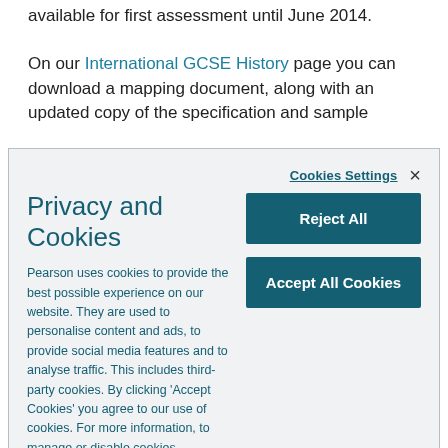available for first assessment until June 2014.
On our International GCSE History page you can download a mapping document, along with an updated copy of the specification and sample
Privacy and Cookies
Cookies Settings
×
Reject All
Accept All Cookies
Pearson uses cookies to provide the best possible experience on our website. They are used to personalise content and ads, to provide social media features and to analyse traffic. This includes third-party cookies. By clicking 'Accept Cookies' you agree to our use of cookies. For more information, to manage or disable cookies,